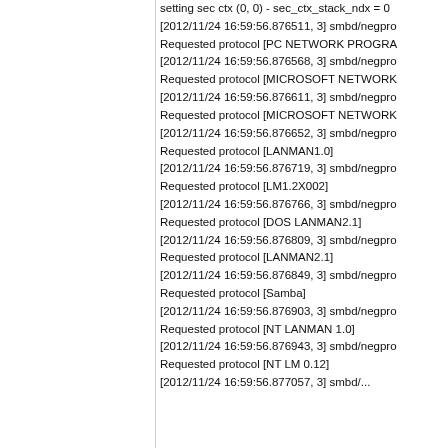setting sec ctx (0, 0) - sec_ctx_stack_ndx = 0
[2012/11/24 16:59:56.876511, 3] smbd/negpro
Requested protocol [PC NETWORK PROGRA
[2012/11/24 16:59:56.876568, 3] smbd/negpro
Requested protocol [MICROSOFT NETWORK
[2012/11/24 16:59:56.876611, 3] smbd/negpro
Requested protocol [MICROSOFT NETWORK
[2012/11/24 16:59:56.876652, 3] smbd/negpro
Requested protocol [LANMAN1.0]
[2012/11/24 16:59:56.876719, 3] smbd/negpro
Requested protocol [LM1.2X002]
[2012/11/24 16:59:56.876766, 3] smbd/negpro
Requested protocol [DOS LANMAN2.1]
[2012/11/24 16:59:56.876809, 3] smbd/negpro
Requested protocol [LANMAN2.1]
[2012/11/24 16:59:56.876849, 3] smbd/negpro
Requested protocol [Samba]
[2012/11/24 16:59:56.876903, 3] smbd/negpro
Requested protocol [NT LANMAN 1.0]
[2012/11/24 16:59:56.876943, 3] smbd/negpro
Requested protocol [NT LM 0.12]
[2012/11/24 16:59:56.877057, 3] smbd/...